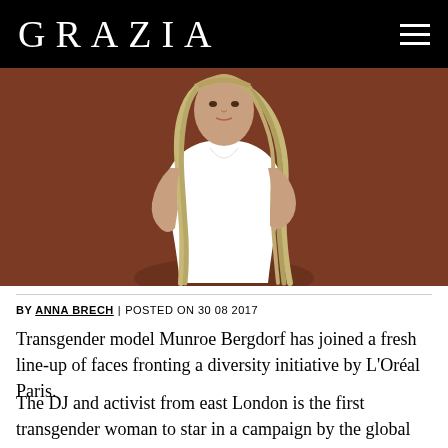GRAZIA
[Figure (photo): A transgender model with long blonde braids wearing a white v-neck t-shirt, posed against a brown background]
BY ANNA BRECH | POSTED ON 30 08 2017
Transgender model Munroe Bergdorf has joined a fresh line-up of faces fronting a diversity initiative by L'Oréal Paris.
The DJ and activist from east London is the first transgender woman to star in a campaign by the global brand, and hopes to break down barriers